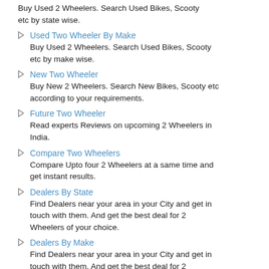Buy Used 2 Wheelers. Search Used Bikes, Scooty etc by state wise.
Used Two Wheeler By Make
Buy Used 2 Wheelers. Search Used Bikes, Scooty etc by make wise.
New Two Wheeler
Buy New 2 Wheelers. Search New Bikes, Scooty etc according to your requirements.
Future Two Wheeler
Read experts Reviews on upcoming 2 Wheelers in India.
Compare Two Wheelers
Compare Upto four 2 Wheelers at a same time and get instant results.
Dealers By State
Find Dealers near your area in your City and get in touch with them. And get the best deal for 2 Wheelers of your choice.
Dealers By Make
Find Dealers near your area in your City and get in touch with them. And get the best deal for 2 Wheelers of your choice.